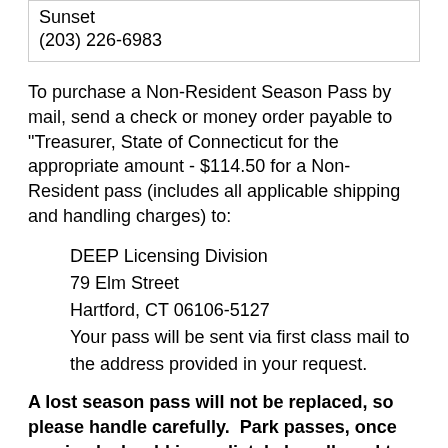Sunset
(203) 226-6983
To purchase a Non-Resident Season Pass by mail, send a check or money order payable to "Treasurer, State of Connecticut for the appropriate amount - $114.50 for a Non-Resident pass (includes all applicable shipping and handling charges) to:
DEEP Licensing Division
79 Elm Street
Hartford, CT 06106-5127
Your pass will be sent via first class mail to the address provided in your request.
A lost season pass will not be replaced, so please handle carefully.  Park passes, once received, should immediately be adhered to a vehicle windshield.
If a windshield needs replacement or a stickered vehicle is sold during the recreation season, a replacement pass